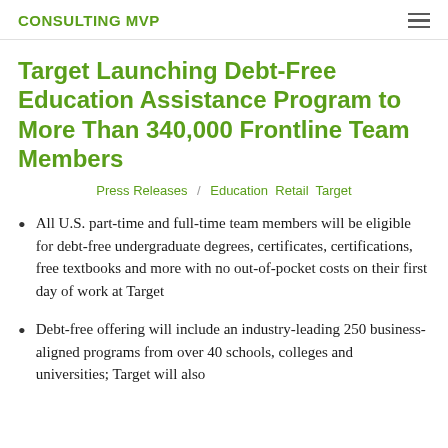CONSULTING MVP
Target Launching Debt-Free Education Assistance Program to More Than 340,000 Frontline Team Members
Press Releases / Education  Retail  Target
All U.S. part-time and full-time team members will be eligible for debt-free undergraduate degrees, certificates, certifications, free textbooks and more with no out-of-pocket costs on their first day of work at Target
Debt-free offering will include an industry-leading 250 business-aligned programs from over 40 schools, colleges and universities; Target will also